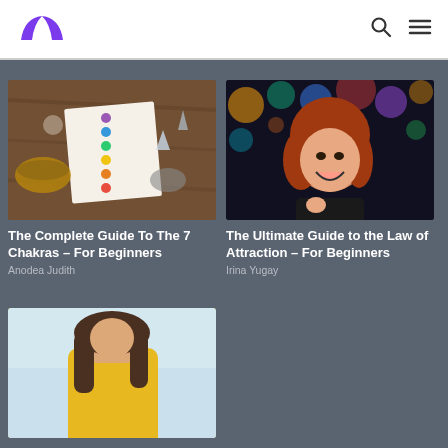[Figure (logo): Purple butterfly/leaf logo icon]
[Figure (illustration): Search icon]
[Figure (illustration): Hamburger menu icon]
[Figure (photo): Overhead photo of chakra drawing with crystals and bowls on wooden surface]
The Complete Guide To The 7 Chakras – For Beginners
Anodea Judith
[Figure (photo): Laughing young girl with red hair at colorful event with bokeh lights]
The Ultimate Guide to the Law of Attraction – For Beginners
Irina Yugay
[Figure (photo): Woman in yellow top, partial view, outdoor scene]